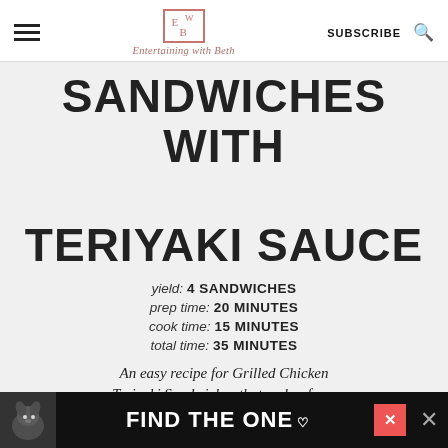Entertaining with Beth
SANDWICHES WITH TERIYAKI SAUCE
yield: 4 SANDWICHES
prep time: 20 MINUTES
cook time: 15 MINUTES
total time: 35 MINUTES
An easy recipe for Grilled Chicken Teriyaki Sandwiches that makes for a great BBQ dinner for summer
[Figure (other): Advertisement banner: FIND THE ONE with dog image]